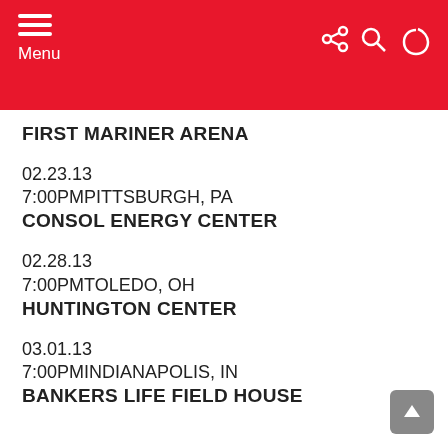Menu
FIRST MARINER ARENA
02.23.13
7:00PMPITTSBURGH, PA
CONSOL ENERGY CENTER
02.28.13
7:00PMTOLEDO, OH
HUNTINGTON CENTER
03.01.13
7:00PMINDIANAPOLIS, IN
BANKERS LIFE FIELD HOUSE